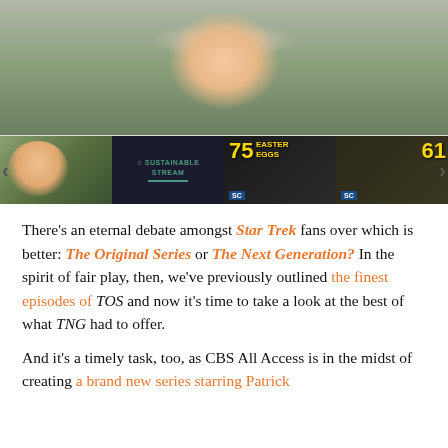[Figure (photo): Close-up photo of a young boy with red curly hair and glasses, wearing a green school uniform, cropped to show mainly his face and upper body. Below are four video thumbnails: a thumbnail of the same boy, a 'Sustainable Stream' dark thumbnail, a '75 Easter Eggs' Marvel thumbnail with a green-skinned character, and a partial '61' thumbnail with a bald character. Navigation arrows on left and right.]
There’s an eternal debate amongst Star Trek fans over which is better: The Original Series or The Next Generation? In the spirit of fair play, then, we’ve previously outlined the finest episodes of TOS and now it’s time to take a look at the best of what TNG had to offer.
And it’s a timely task, too, as CBS All Access is in the midst of creating a brand new series starring Patrick...